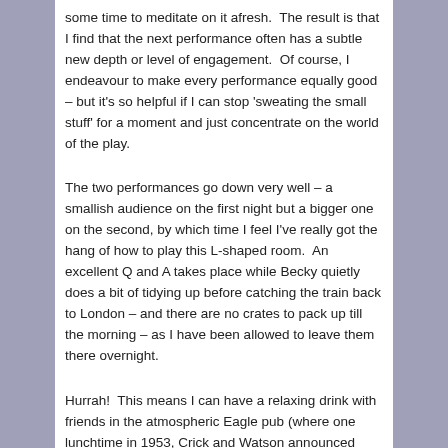some time to meditate on it afresh. The result is that I find that the next performance often has a subtle new depth or level of engagement. Of course, I endeavour to make every performance equally good – but it's so helpful if I can stop 'sweating the small stuff' for a moment and just concentrate on the world of the play.
The two performances go down very well – a smallish audience on the first night but a bigger one on the second, by which time I feel I've really got the hang of how to play this L-shaped room. An excellent Q and A takes place while Becky quietly does a bit of tidying up before catching the train back to London – and there are no crates to pack up till the morning – as I have been allowed to leave them there overnight.
Hurrah! This means I can have a relaxing drink with friends in the atmospheric Eagle pub (where one lunchtime in 1953, Crick and Watson announced they had discovered DNA), and then head back to my hosts Andre and Sean for some excellent cheese and a glass of